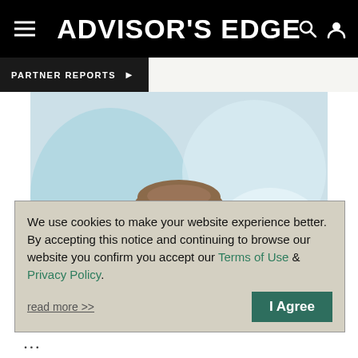ADVISOR'S EDGE
PARTNER REPORTS
[Figure (photo): Professional headshot of a smiling man in a dark suit with a blue striped tie, against a blurred light blue/white office background.]
We use cookies to make your website experience better. By accepting this notice and continuing to browse our website you confirm you accept our Terms of Use & Privacy Policy.
read more >>
I Agree